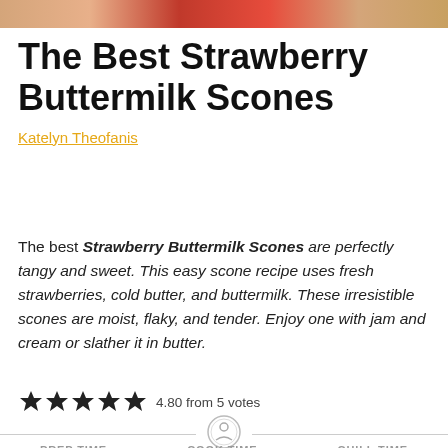[Figure (photo): Food photo strip showing strawberry scones at the top of the page]
The Best Strawberry Buttermilk Scones
Katelyn Theofanis
The best Strawberry Buttermilk Scones are perfectly tangy and sweet. This easy scone recipe uses fresh strawberries, cold butter, and buttermilk. These irresistible scones are moist, flaky, and tender. Enjoy one with jam and cream or slather it in butter.
4.80 from 5 votes
PREP TIME 10 mins | COOK TIME 20 mins | CHILL TIME 30 mins